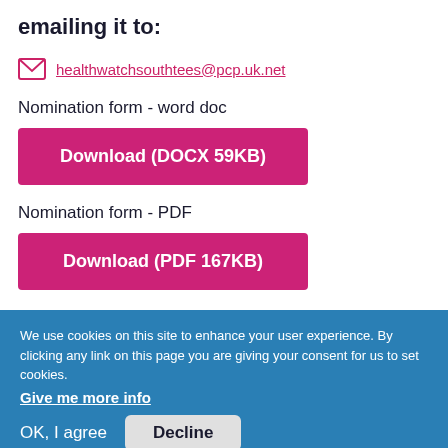emailing it to:
healthwatchsouthtees@pcp.uk.net
Nomination form - word doc
Download (DOCX 59KB)
Nomination form - PDF
Download (PDF 167KB)
We use cookies on this site to enhance your user experience. By clicking any link on this page you are giving your consent for us to set cookies.
Give me more info
OK, I agree
Decline